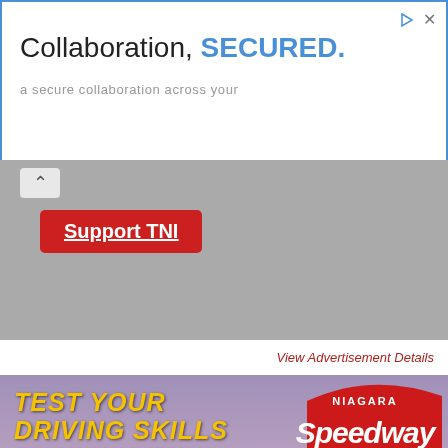[Figure (screenshot): Web advertisement banner with blue border reading 'Collaboration, SECURED.' with subtitle 'a secure collaboration across your' and play/close icons in top right]
[Figure (screenshot): Gray UI bar with collapse chevron button and red 'Support TNI' button with underline]
View Advertisement Details
[Figure (photo): Niagara Speedway advertisement showing go-kart track with aerial view, volcano prop with fire, city skyline at dusk, yellow bold text 'TEST YOUR DRIVING SKILLS IT'S LIKE GO-KARTS ON STEROIDS!!!' and Niagara Speedway logo in red with checkered flag]